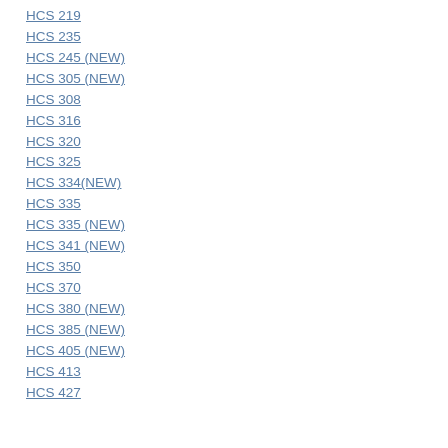HCS 219
HCS 235
HCS 245 (NEW)
HCS 305 (NEW)
HCS 308
HCS 316
HCS 320
HCS 325
HCS 334(NEW)
HCS 335
HCS 335 (NEW)
HCS 341 (NEW)
HCS 350
HCS 370
HCS 380 (NEW)
HCS 385 (NEW)
HCS 405 (NEW)
HCS 413
HCS 427